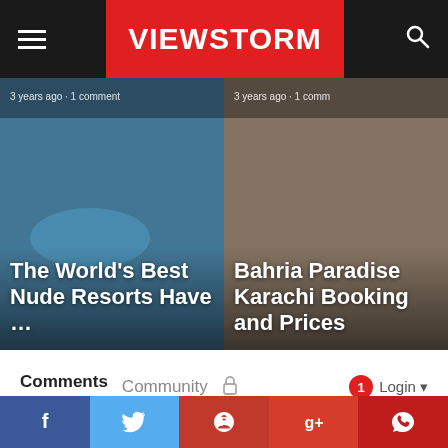VIEWSTORM
[Figure (screenshot): Two article card thumbnails: left card shows 'The World's Best Nude Resorts Have …' with pool background, right card shows 'Bahria Paradise Karachi Booking and Prices' with sandy beach background. Both have metadata '3 years ago · 1 comment' at top.]
Comments   Community   Login
Favorite   Sort by Best
Start the discussion...
LOG IN WITH
[Figure (screenshot): Social login icons: Disqus (blue D), Facebook (dark blue f), Twitter (light blue bird), Google (red G)]
f  (Twitter bird)  (Pinterest P)  g+  (comment bubble)